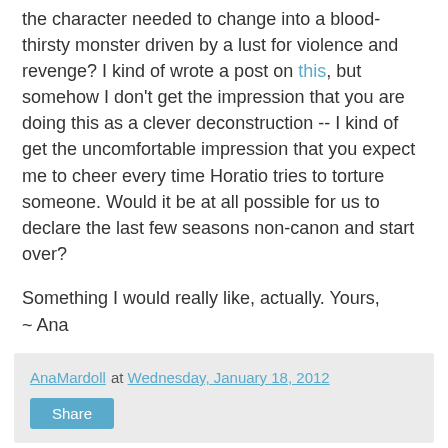the character needed to change into a blood-thirsty monster driven by a lust for violence and revenge? I kind of wrote a post on this, but somehow I don't get the impression that you are doing this as a clever deconstruction -- I kind of get the uncomfortable impression that you expect me to cheer every time Horatio tries to torture someone. Would it be at all possible for us to declare the last few seasons non-canon and start over?
Something I would really like, actually. Yours,
~ Ana
AnaMardoll at Wednesday, January 18, 2012
Share
Author Interview: Sadie Hayes on "The Start-Up"
[Figure (photo): Partial photo of a person, cropped at bottom of page]